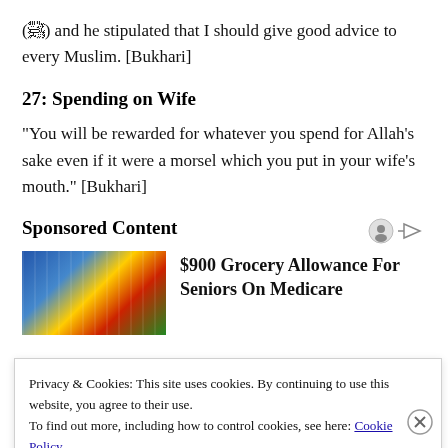(ص) and he stipulated that I should give good advice to every Muslim. [Bukhari]
27: Spending on Wife
“You will be rewarded for whatever you spend for Allah’s sake even if it were a morsel which you put in your wife’s mouth.” [Bukhari]
Sponsored Content
[Figure (photo): Store/grocery store interior photo]
$900 Grocery Allowance For Seniors On Medicare
Privacy & Cookies: This site uses cookies. By continuing to use this website, you agree to their use.
To find out more, including how to control cookies, see here: Cookie Policy
Close and accept